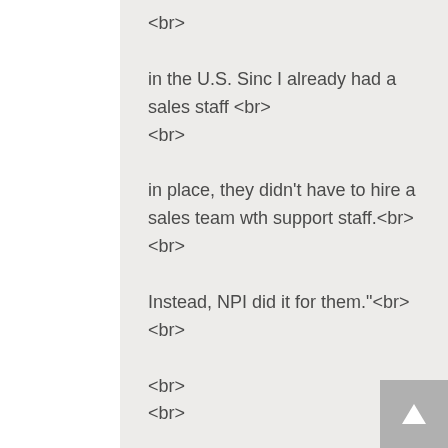<br>

in the U.S. Sinc I already had a sales staff <br>
<br>

in place, they didn't have to hire a sales team wth support staff.<br>
<br>

Instead, NPI did it for them."<br>
<br>


<br>
<br>